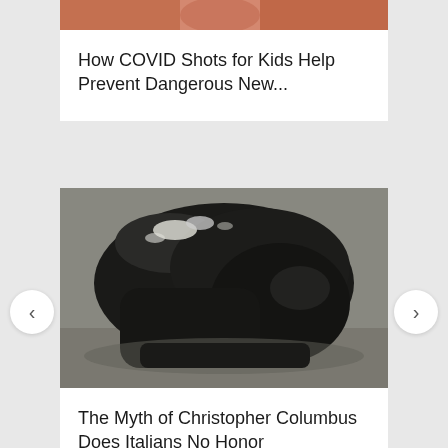[Figure (photo): Partial image of a person visible at top of card — cropped skin/hand area with warm tones]
How COVID Shots for Kids Help Prevent Dangerous New...
[Figure (photo): Close-up photograph of a toppled dark bronze statue head lying on the ground, showing detailed textured surface of what appears to be a Christopher Columbus statue]
The Myth of Christopher Columbus Does Italians No Honor